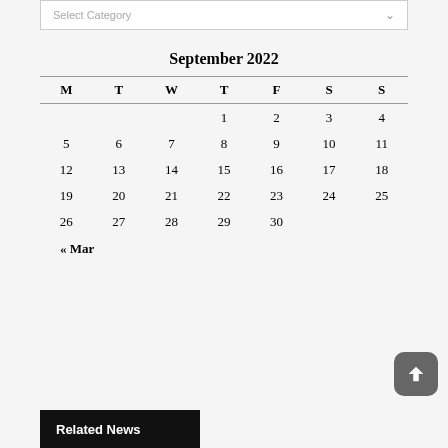Select Category
September 2022
| M | T | W | T | F | S | S |
| --- | --- | --- | --- | --- | --- | --- |
|  |  |  | 1 | 2 | 3 | 4 |
| 5 | 6 | 7 | 8 | 9 | 10 | 11 |
| 12 | 13 | 14 | 15 | 16 | 17 | 18 |
| 19 | 20 | 21 | 22 | 23 | 24 | 25 |
| 26 | 27 | 28 | 29 | 30 |  |  |
« Mar
Related News